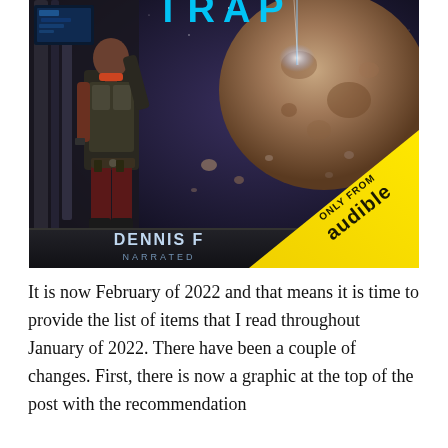[Figure (photo): Book cover for a science fiction audiobook. Shows a person in tactical/space gear standing in front of a large asteroid or planetary body in space. The title appears at the top in blue text (partially visible: 'TRIP' or similar). Author name 'DENNIS [F...]R' and 'NARRATED [BY ...] ATER' appear at the bottom. A yellow diagonal banner in the lower right reads 'ONLY FROM audible'.]
It is now February of 2022 and that means it is time to provide the list of items that I read throughout January of 2022. There have been a couple of changes. First, there is now a graphic at the top of the post with the recommendation